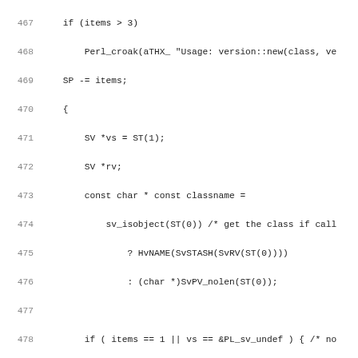[Figure (screenshot): Source code listing in monospace font showing C/XS code lines 467-498, with line numbers on the left in gray and code on the right in dark color. The code shows a version::new function implementation with conditionals, object creation, and XS macro calls.]